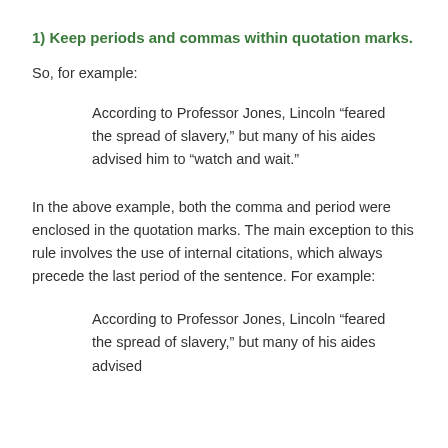1) Keep periods and commas within quotation marks.
So, for example:
According to Professor Jones, Lincoln “feared the spread of slavery,” but many of his aides advised him to “watch and wait.”
In the above example, both the comma and period were enclosed in the quotation marks. The main exception to this rule involves the use of internal citations, which always precede the last period of the sentence. For example:
According to Professor Jones, Lincoln “feared the spread of slavery,” but many of his aides advised